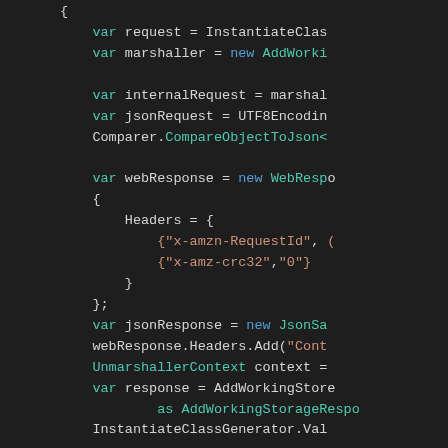[Figure (screenshot): Dark-themed code editor screenshot showing C# code with syntax highlighting. Code includes variable declarations for request, marshaller, internalRequest, jsonRequest, webResponse with Headers containing 'x-amzn-RequestId' and 'x-amz-crc32' keys, jsonResponse, webResponse.Headers.Add, UnmarshallerContext, response, and InstantiateClassGenerator.Val.]